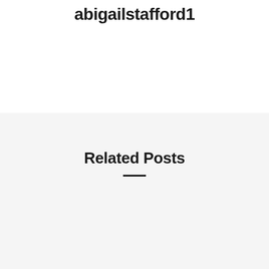abigailstafford1
Related Posts